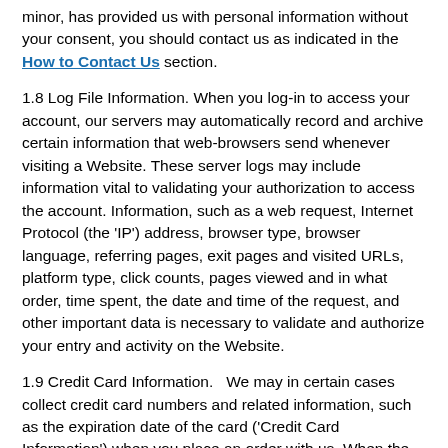minor, has provided us with personal information without your consent, you should contact us as indicated in the How to Contact Us section.
1.8 Log File Information. When you log-in to access your account, our servers may automatically record and archive certain information that web-browsers send whenever visiting a Website. These server logs may include information vital to validating your authorization to access the account. Information, such as a web request, Internet Protocol (the 'IP') address, browser type, browser language, referring pages, exit pages and visited URLs, platform type, click counts, pages viewed and in what order, time spent, the date and time of the request, and other important data is necessary to validate and authorize your entry and activity on the Website.
1.9 Credit Card Information.   We may in certain cases collect credit card numbers and related information, such as the expiration date of the card ('Credit Card Information') when you place an order with us. When the Credit Card Information is submitted to us, such information is encrypted and is protected with SSL encryption software. We will use the Credit Card Information for purposes of processing and completing the purchase transaction, and the Credit Card Information will be disclosed to Third Parties only as necessary to complete the purchase transaction.
2. Use of Your Individual Information.
2.1 Discretionary Use. Individual information WE MAY...